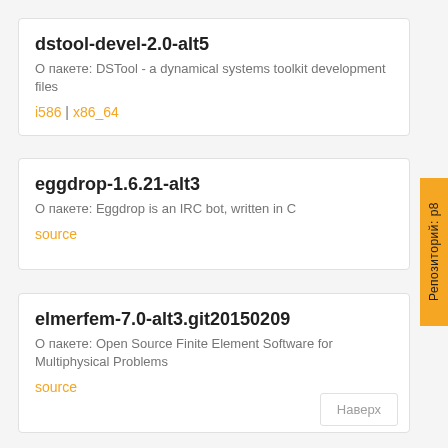dstool-devel-2.0-alt5
О пакете: DSTool - a dynamical systems toolkit development files
i586 | x86_64
eggdrop-1.6.21-alt3
О пакете: Eggdrop is an IRC bot, written in C
source
elmerfem-7.0-alt3.git20150209
О пакете: Open Source Finite Element Software for Multiphysical Problems
source